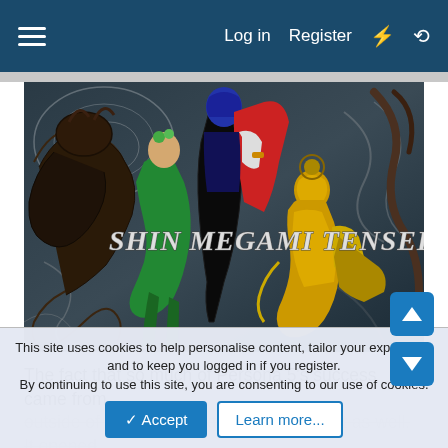Log in  Register
[Figure (illustration): Shin Megami Tensei game artwork banner showing multiple characters including a figure in black bodysuit, characters in green and gold outfits, a large beast, and decorative swirling patterns on a dark background. Text 'SHIN MEGAMI TENSEI' overlaid on the image.]
The fact that so much of Persona 5's success came from outside of Japan was extremely important as well. It opened
This site uses cookies to help personalise content, tailor your experience and to keep you logged in if you register.
By continuing to use this site, you are consenting to our use of cookies.
✓ Accept    Learn more...